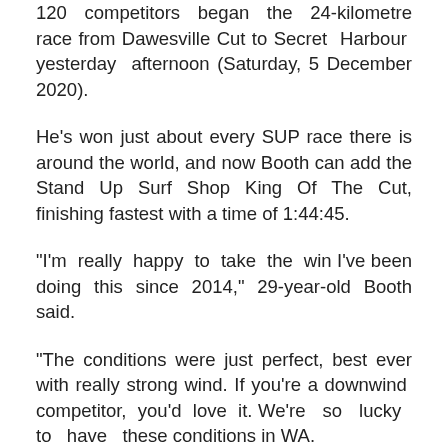120 competitors began the 24-kilometre race from Dawesville Cut to Secret Harbour yesterday afternoon (Saturday, 5 December 2020).
He's won just about every SUP race there is around the world, and now Booth can add the Stand Up Surf Shop King Of The Cut, finishing fastest with a time of 1:44:45.
"I'm really happy to take the win I've been doing this since 2014," 29-year-old Booth said.
"The conditions were just perfect, best ever with really strong wind. If you're a downwind competitor, you'd love it. We're so lucky to have these conditions in WA.
"I knew I had to break away early and